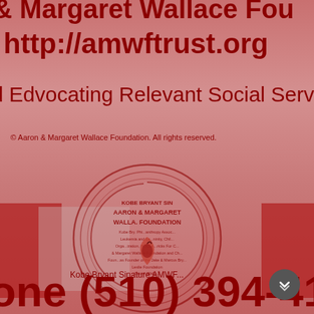& Margaret Wallace Fou...
http://amwftrust.org
d Edvocating Relevant Social Service...
© Aaron & Margaret Wallace Foundation. All rights reserved.
[Figure (logo): Circular stamp/seal for Aaron & Margaret Wallace Foundation featuring Kobe Bryant Sinature text, a heart with apple symbol, and spiral design in red]
Kobe Bryant Sinature AMWF...
one (510) 394-41...